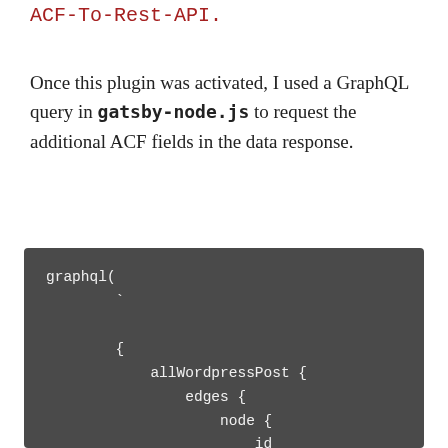ACF-To-Rest-API.
Once this plugin was activated, I used a GraphQL query in gatsby-node.js to request the additional ACF fields in the data response.
graphql(
    `
        {
            allWordpressPost {
                edges {
                    node {
                        id
                        wordpress_id
                        date